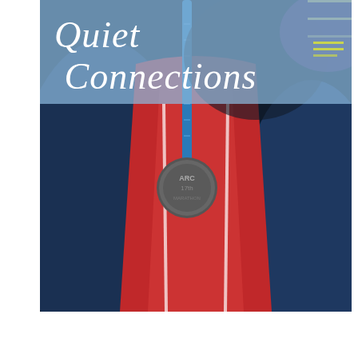[Figure (photo): Composite image: top band has a semi-transparent light blue overlay with the italic serif title 'Quiet Connections' in white. Below is a close-up photograph of a person wearing a red running vest/top and a navy blue jacket, with a blue lanyard and a race finisher medal (appears to say 'ARC' or similar) hanging around their neck. The medal is circular and metallic. There are reflective strips visible on the running gear.]